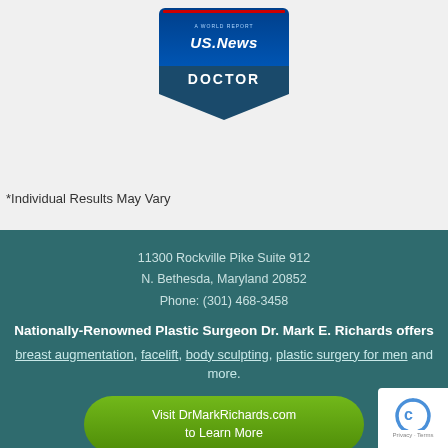[Figure (logo): U.S. News & World Report Doctor badge/seal with blue banner top, dark teal bottom reading DOCTOR, and white chevron pointing down]
*Individual Results May Vary
11300 Rockville Pike Suite 912
N. Bethesda, Maryland 20852
Phone: (301) 468-3458
Nationally-Renowned Plastic Surgeon Dr. Mark E. Richards offers breast augmentation, facelift, body sculpting, plastic surgery for men and more.
Visit DrMarkRichards.com to Learn More
Medical Website Design by Rosemont Media
[Figure (logo): reCAPTCHA privacy badge in bottom right corner]